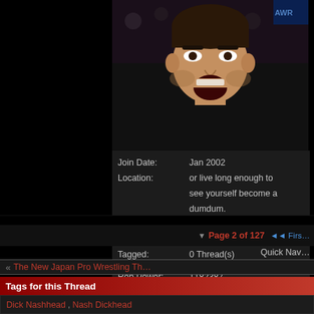[Figure (photo): Profile photo of a man with mouth open, appears to be at a sporting event]
Join Date:    Jan 2002
Location:     or live long enough to see yourself become a dumdum.
Posts:        27,053
Mentioned:    182 Post(s)
Tagged:       0 Thread(s)
Rep Power:    1182387
Does she have the qua...
lol what? ffs
▼ Page 2 of 127  «« First
Quick Nav
« The New Japan Pro Wrestling Th...
Tags for this Thread
Dick Nashhead, Nash Dickhead